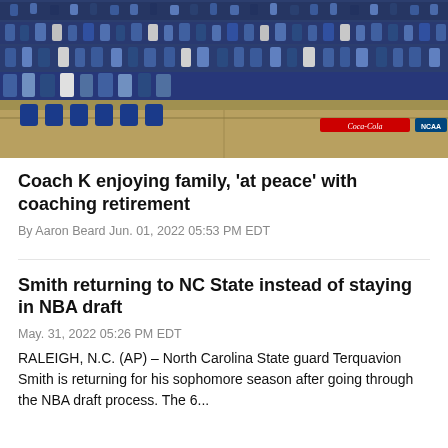[Figure (photo): Basketball arena photo showing a packed crowd of fans, a coach sitting on a stool on the sideline, with NCAA and Coca-Cola branding visible on the court]
Coach K enjoying family, 'at peace' with coaching retirement
By Aaron Beard Jun. 01, 2022 05:53 PM EDT
Smith returning to NC State instead of staying in NBA draft
May. 31, 2022 05:26 PM EDT
RALEIGH, N.C. (AP) – North Carolina State guard Terquavion Smith is returning for his sophomore season after going through the NBA draft process. The 6...